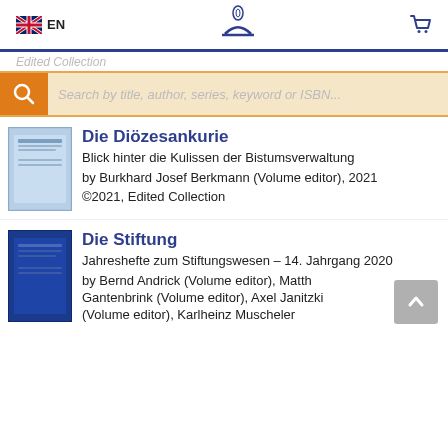EN
Search by title, author, series, keyword or ISBN...
Die Diözesankurie
Blick hinter die Kulissen der Bistumsverwaltung
by Burkhard Josef Berkmann (Volume editor), 2021
©2021, Edited Collection
Die Stiftung
Jahreshefte zum Stiftungswesen – 14. Jahrgang 2020
by Bernd Andrick (Volume editor), Matth Gantenbrink (Volume editor), Axel Janitzki (Volume editor), Karlheinz Muscheler